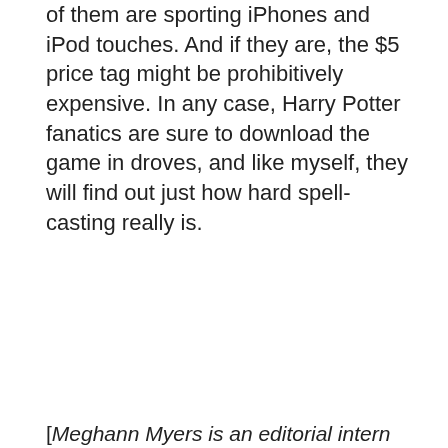and young adult, so it is unlikely that a huge number of them are sporting iPhones and iPod touches. And if they are, the $5 price tag might be prohibitively expensive. In any case, Harry Potter fanatics are sure to download the game in droves, and like myself, they will find out just how hard spell-casting really is.
[Meghann Myers is an editorial intern for Macworld magazine.]
Sponsored
[Figure (photo): Advertisement showing an Apple iMac or Cinema Display monitor with a blue swirl abstract wallpaper on screen, set against a white background.]